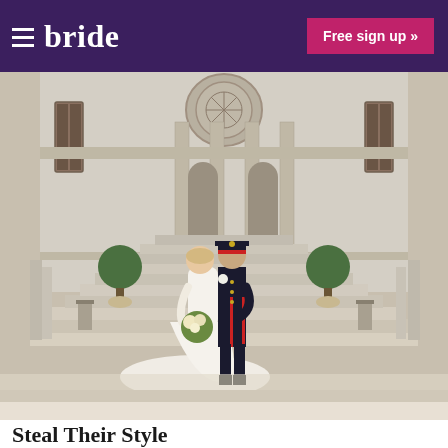≡ bride   Free sign up »
[Figure (photo): Wedding couple posing on grand stone staircase of a stately home/chateau. The bride wears a white lace gown with a long cathedral train and holds a bouquet of greenery and white flowers. The groom is dressed in a dark military uniform with red stripe trousers and a red-banded cap. The ornate baroque-style building features arched windows, columns, and decorative urns with topiary plants on the stairs. Lanterns and candles also decorate the steps.]
Steal Their Style